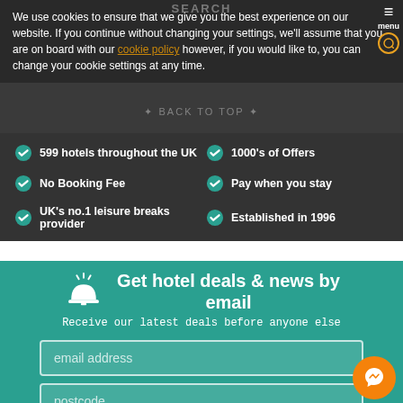We use cookies to ensure that we give you the best experience on our website. If you continue without changing your settings, we'll assume that you are on board with our cookie policy however, if you would like to, you can change your cookie settings at any time.
599 hotels throughout the UK
1000's of Offers
No Booking Fee
Pay when you stay
UK's no.1 leisure breaks provider
Established in 1996
Get hotel deals & news by email
Receive our latest deals before anyone else
email address
postcode
SIGN UP